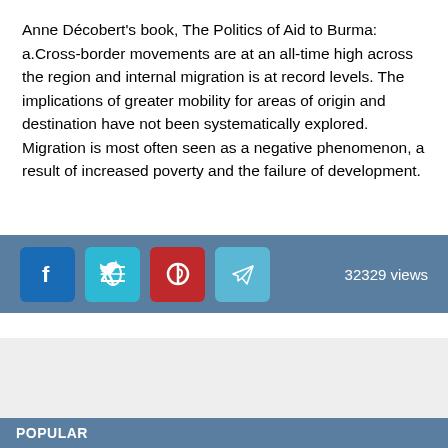Anne Décobert's book, The Politics of Aid to Burma: a.Cross-border movements are at an all-time high across the region and internal migration is at record levels. The implications of greater mobility for areas of origin and destination have not been systematically explored. Migration is most often seen as a negative phenomenon, a result of increased poverty and the failure of development.
[Figure (infographic): Social sharing bar with Facebook, Twitter, Pinterest, and Telegram icons, and '32329 views' text on the right]
POPULAR